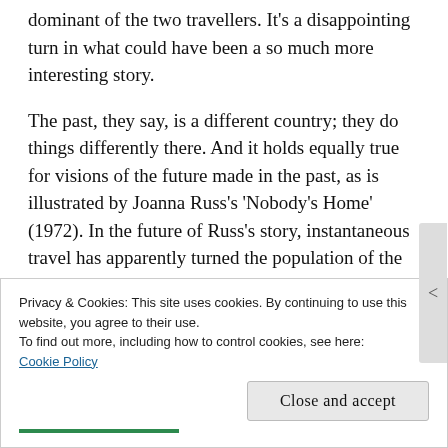dominant of the two travellers. It's a disappointing turn in what could have been a so much more interesting story.
The past, they say, is a different country; they do things differently there. And it holds equally true for visions of the future made in the past, as is illustrated by Joanna Russ's 'Nobody's Home' (1972). In the future of Russ's story, instantaneous travel has apparently turned the population of the Earth – much reduced, though no reason for that is given – into peripatetic dilettantes.
Privacy & Cookies: This site uses cookies. By continuing to use this website, you agree to their use.
To find out more, including how to control cookies, see here:
Cookie Policy
Close and accept